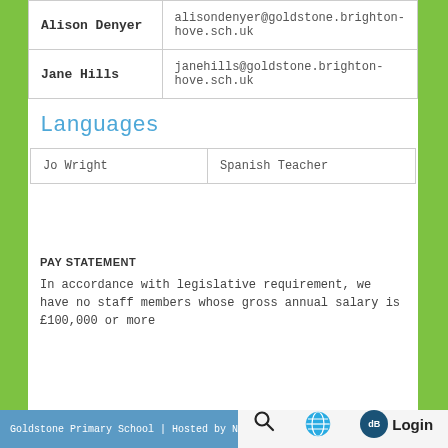| Name | Email |
| --- | --- |
| Alison Denyer | alisondenyer@goldstone.brighton-hove.sch.uk |
| Jane Hills | janehills@goldstone.brighton-hove.sch.uk |
Languages
| Name | Role |
| --- | --- |
| Jo Wright | Spanish Teacher |
PAY STATEMENT
In accordance with legislative requirement, we have no staff members whose gross annual salary is £100,000 or more
Goldstone Primary School | Hosted by New Era T